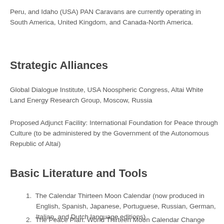Peru, and Idaho (USA) PAN Caravans are currently operating in South America, United Kingdom, and Canada-North America.
Strategic Alliances
Global Dialogue Institute, USA Noospheric Congress, Altai White Land Energy Research Group, Moscow, Russia
Proposed Adjunct Facility: International Foundation for Peace through Culture (to be administered by the Government of the Autonomous Republic of Altai)
Basic Literature and Tools
The Calendar Thirteen Moon Calendar (now produced in English, Spanish, Japanese, Portuguese, Russian, German, Italian, and Dutch language editions)
The Peace Plan. World Thirteen Moon Calendar Change